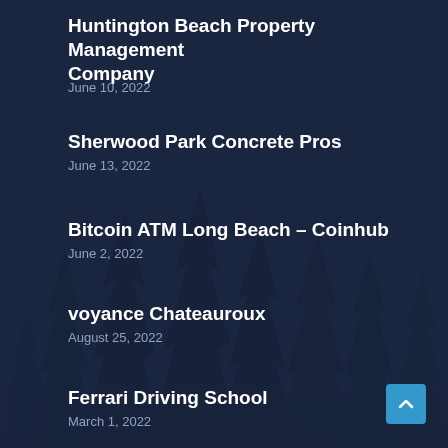[Figure (illustration): Dark navy blue background with silhouettes of evergreen/pine trees in the lower portion, giving a forest at night atmosphere]
Huntington Beach Property Management Company
June 10, 2022
Sherwood Park Concrete Pros
June 13, 2022
Bitcoin ATM Long Beach – Coinhub
June 2, 2022
voyance Chateauroux
August 25, 2022
Ferrari Driving School
March 1, 2022